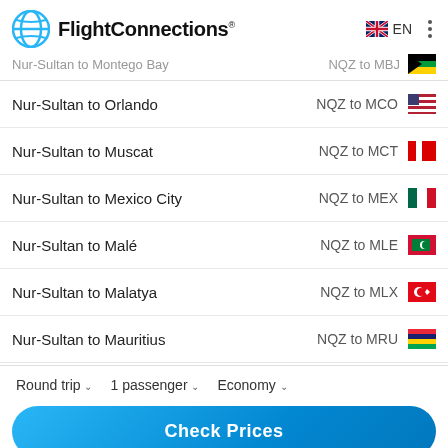FlightConnections
Nur-Sultan to Montego Bay — NQZ to MBJ
Nur-Sultan to Orlando — NQZ to MCO
Nur-Sultan to Muscat — NQZ to MCT
Nur-Sultan to Mexico City — NQZ to MEX
Nur-Sultan to Malé — NQZ to MLE
Nur-Sultan to Malatya — NQZ to MLX
Nur-Sultan to Mauritius — NQZ to MRU
Round trip  1 passenger  Economy
Check Prices